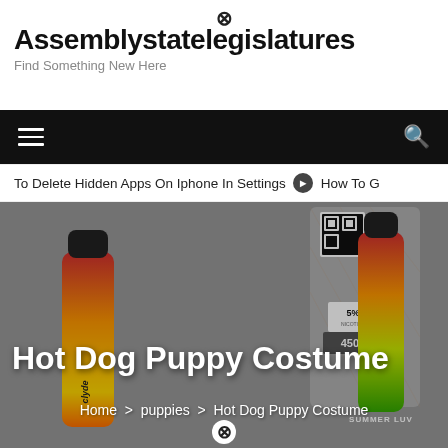Assemblystatelegislatures – Find Something New Here
Assemblystatelegislatures
Find Something New Here
[Figure (screenshot): Black navigation bar with hamburger menu icon on left and search icon on right]
To Delete Hidden Apps On Iphone In Settings  ➡  How To G
[Figure (photo): Hero image showing Hyde N-Bar vape disposable products with gradient red-yellow-green design, 5% nicotine, 4500 puffs, Summer Luv flavor, with Hot Dog Puppy Costume title overlay and breadcrumb navigation]
Hot Dog Puppy Costume
Home > puppies > Hot Dog Puppy Costume